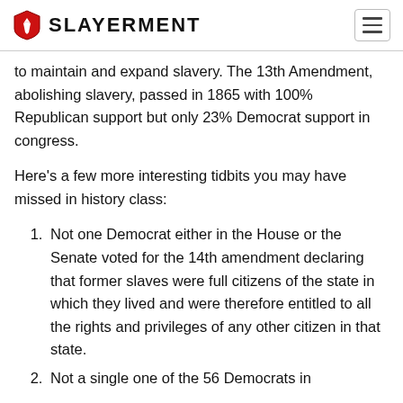SLAYERMENT
to maintain and expand slavery. The 13th Amendment, abolishing slavery, passed in 1865 with 100% Republican support but only 23% Democrat support in congress.
Here's a few more interesting tidbits you may have missed in history class:
Not one Democrat either in the House or the Senate voted for the 14th amendment declaring that former slaves were full citizens of the state in which they lived and were therefore entitled to all the rights and privileges of any other citizen in that state.
Not a single one of the 56 Democrats in